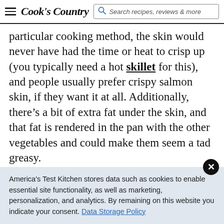Cook's Country | Search recipes, reviews & more
particular cooking method, the skin would never have had the time or heat to crisp up (you typically need a hot skillet for this), and people usually prefer crispy salmon skin, if they want it at all. Additionally, there's a bit of extra fat under the skin, and that fat is rendered in the pan with the other vegetables and could make them seem a tad greasy.
So, yeah, keep the skin! Just know that with that skin will come a bit of extra salmon fat. And that fat
America's Test Kitchen stores data such as cookies to enable essential site functionality, as well as marketing, personalization, and analytics. By remaining on this website you indicate your consent. Data Storage Policy